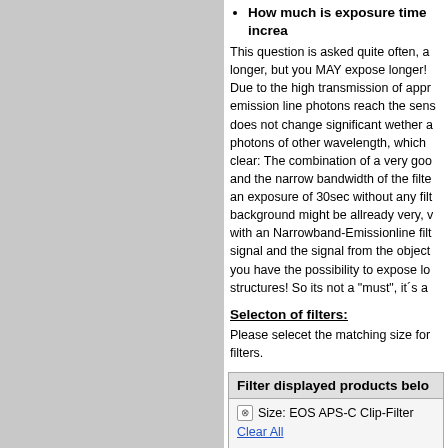How much is exposure time increased?
This question is asked quite often, a... longer, but you MAY expose longer! Due to the high transmission of appr... emission line photons reach the sens... does not change significant wether a... photons of other wavelength, which ... clear: The combination of a very goo... and the narrow bandwidth of the filte... an exposure of 30sec without any filt... background might be allready very, v... with an Narrowband-Emissionline filt... signal and the signal from the object... you have the possibility to expose lo... structures! So its not a "must", it´s a...
Selecton of filters:
Please selecet the matching size for... filters.
| FWHM | Center-Wavelength |
| --- | --- |
| 12nm (3) | OIII (501nm) (2) |